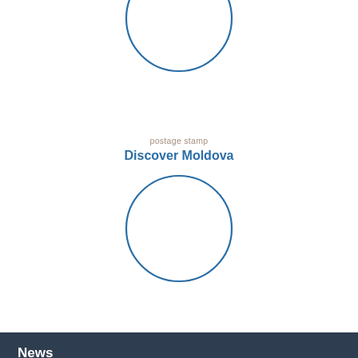[Figure (illustration): Circle outline (top, partially cropped at top edge) representing a postage stamp placeholder]
postage stamp
Discover Moldova
[Figure (illustration): Circle outline representing a postage stamp placeholder]
News
29 July 2022
The schedule of philatelic products issues for June 2022
[Figure (illustration): Circle outline (bottom, partially cropped) representing a postage stamp placeholder]